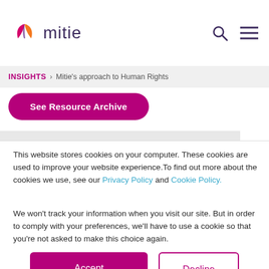[Figure (logo): Mitie logo with circular orange and pink/purple leaf icon and 'mitie' wordmark]
INSIGHTS > Mitie's approach to Human Rights
See Resource Archive
This website stores cookies on your computer. These cookies are used to improve your website experience.To find out more about the cookies we use, see our Privacy Policy and Cookie Policy.

We won't track your information when you visit our site. But in order to comply with your preferences, we'll have to use a cookie so that you're not asked to make this choice again.
Accept
Decline